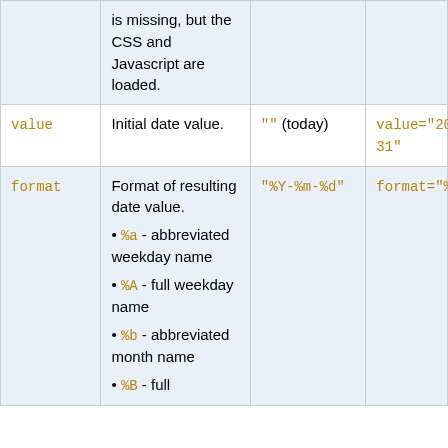| Attribute | Description | Default | Example |
| --- | --- | --- | --- |
|  | is missing, but the CSS and Javascript are loaded. |  |  |
| value | Initial date value. | "" (today) | value="2012-31" |
| format | Format of resulting date value.
• %a - abbreviated weekday name
• %A - full weekday name
• %b - abbreviated month name
• %B - full | "%Y-%m-%d" | format="%e |